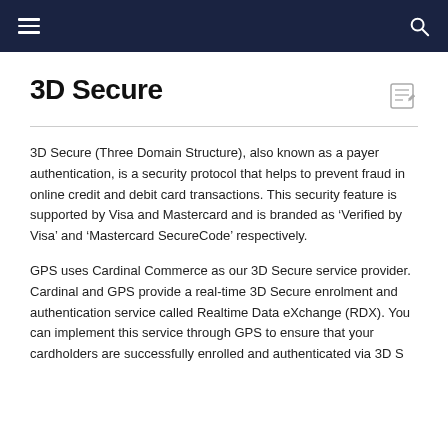Navigation bar with hamburger menu and search icon
3D Secure
3D Secure (Three Domain Structure), also known as a payer authentication, is a security protocol that helps to prevent fraud in online credit and debit card transactions. This security feature is supported by Visa and Mastercard and is branded as ‘Verified by Visa’ and ‘Mastercard SecureCode’ respectively.
GPS uses Cardinal Commerce as our 3D Secure service provider. Cardinal and GPS provide a real-time 3D Secure enrolment and authentication service called Realtime Data eXchange (RDX). You can implement this service through GPS to ensure that your cardholders are successfully enrolled and authenticated via 3D S...